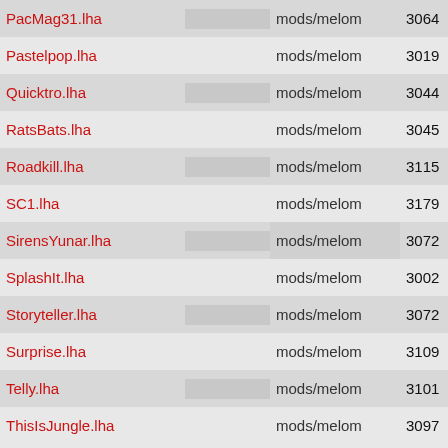| Filename |  | Path | Num1 | Size | Year |
| --- | --- | --- | --- | --- | --- |
| PacMag31.lha |  | mods/melom | 3064 | 137K | 199 |
| Pastelpop.lha |  | mods/melom | 3019 | 142K | 199 |
| Quicktro.lha |  | mods/melom | 3044 | 10K | 199 |
| RatsBats.lha |  | mods/melom | 3045 | 266K | 199 |
| Roadkill.lha |  | mods/melom | 3115 | 16K | 199 |
| SC1.lha |  | mods/melom | 3179 | 1K | 199 |
| SirensYunar.lha |  | mods/melom | 3072 | 451K | 199 |
| SplashIt.lha |  | mods/melom | 3002 | 152K | 199 |
| Storyteller.lha |  | mods/melom | 3072 | 450K | 199 |
| Surprise.lha |  | mods/melom | 3109 | 275K | 199 |
| Telly.lha |  | mods/melom | 3101 | 42K | 199 |
| ThisIsJungle.lha |  | mods/melom | 3097 | 90K | 199 |